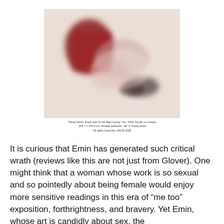[Figure (photo): A blurry/obscured painting on canvas showing abstract forms in red, pink, and dark tones against a light beige background. The image is deliberately blurred.]
Tracey Emin, Every part of me Kept Loving You, 2018. Acrylic on canvas, 205.7 x 279.5 cm. Private collection, UK © Tracey Emin All rights reserved, DACS 2020.
It is curious that Emin has generated such critical wrath (reviews like this are not just from Glover). One might think that a woman whose work is so sexual and so pointedly about being female would enjoy more sensitive readings in this era of “me too” exposition, forthrightness, and bravery. Yet Emin, whose art is candidly about sex, the